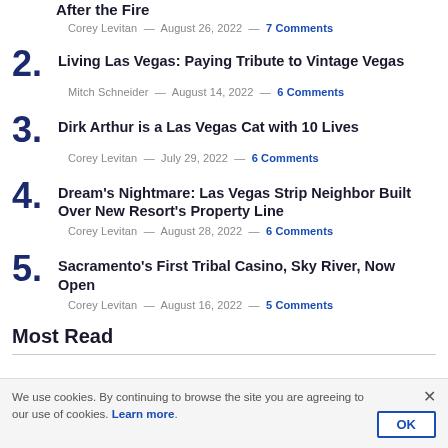After the Fire — Corey Levitan — August 26, 2022 — 7 Comments
2. Living Las Vegas: Paying Tribute to Vintage Vegas — Mitch Schneider — August 14, 2022 — 6 Comments
3. Dirk Arthur is a Las Vegas Cat with 10 Lives — Corey Levitan — July 29, 2022 — 6 Comments
4. Dream's Nightmare: Las Vegas Strip Neighbor Built Over New Resort's Property Line — Corey Levitan — August 28, 2022 — 6 Comments
5. Sacramento's First Tribal Casino, Sky River, Now Open — Corey Levitan — August 16, 2022 — 5 Comments
Most Read
We use cookies. By continuing to browse the site you are agreeing to our use of cookies. Learn more.